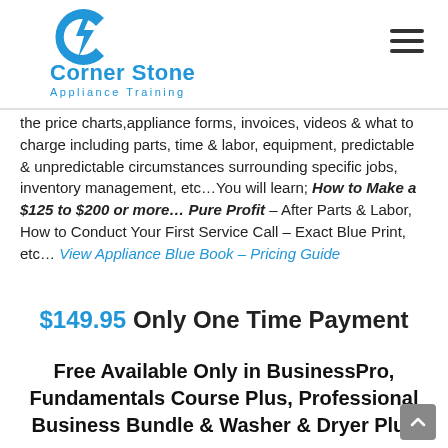Corner Stone Appliance Training
the price charts,appliance forms, invoices, videos & what to charge including parts, time & labor, equipment, predictable & unpredictable circumstances surrounding specific jobs, inventory management, etc…You will learn; How to Make a $125 to $200 or more… Pure Profit – After Parts & Labor, How to Conduct Your First Service Call – Exact Blue Print, etc… View Appliance Blue Book – Pricing Guide
$149.95 Only One Time Payment
Free Available Only in BusinessPro, Fundamentals Course Plus, Professional Business Bundle & Washer & Dryer Plus